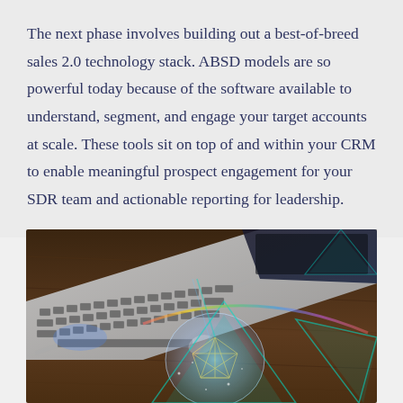The next phase involves building out a best-of-breed sales 2.0 technology stack. ABSD models are so powerful today because of the software available to understand, segment, and engage your target accounts at scale. These tools sit on top of and within your CRM to enable meaningful prospect engagement for your SDR team and actionable reporting for leadership.
[Figure (photo): A laptop computer with a glowing crystal ball and cyan geometric triangles overlaid, suggesting technology and data analytics on a wooden surface.]